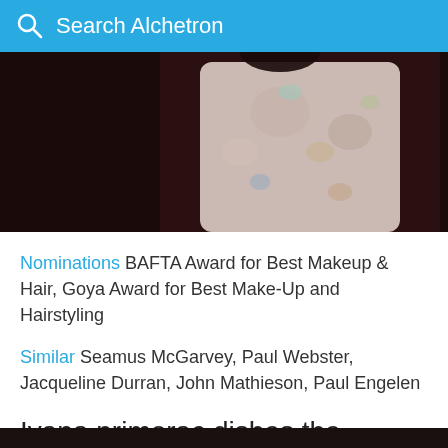Search Alchetron
[Figure (photo): Person wearing a floral patterned jacket/blouse, image partially visible with dark background]
Nominations  BAFTA Award for Best Makeup & Hair, Goya Award for Best Make-Up and Hairstyling
Similar  Seamus McGarvey, Paul Webster, Jacqueline Durran, John Mathieson, Paul Engelen
Ivana primorac dishes the makeup secrets of the reader
Covid-19